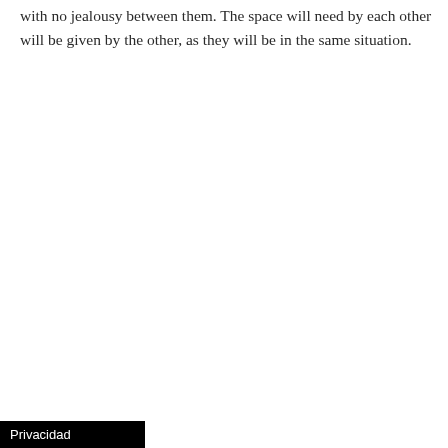with no jealousy between them. The space will need by each other will be given by the other, as they will be in the same situation.
Privacidad